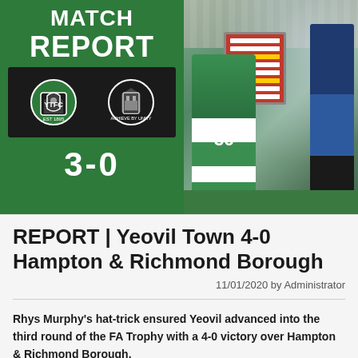[Figure (photo): Match report header image split into two panels: left green panel showing 'MATCH REPORT' text, two club crests (Yeovil Town and Hampton & Richmond Borough) on dark background, and score 3-0; right panel shows a football player wearing green kit with number 36 standing beside coaching staff holding a substitution board, stadium stands visible in background.]
REPORT | Yeovil Town 4-0 Hampton & Richmond Borough
11/01/2020 by Administrator
Rhys Murphy's hat-trick ensured Yeovil advanced into the third round of the FA Trophy with a 4-0 victory over Hampton & Richmond Borough.